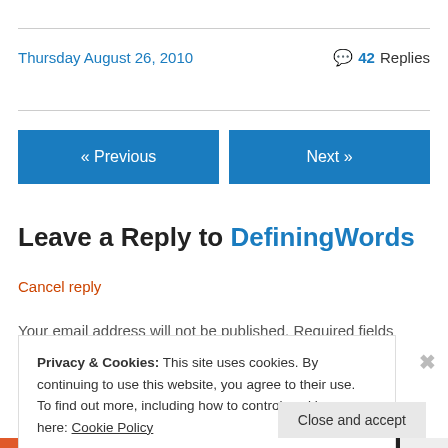Thursday August 26, 2010
42 Replies
« Previous
Next »
Leave a Reply to DefiningWords
Cancel reply
Your email address will not be published. Required fields
Privacy & Cookies: This site uses cookies. By continuing to use this website, you agree to their use.
To find out more, including how to control cookies, see here: Cookie Policy
Close and accept